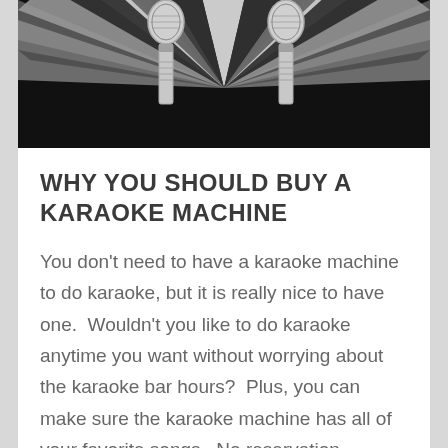[Figure (illustration): Two microphones against a black and white starburst/ray pattern background, monochrome image]
WHY YOU SHOULD BUY A KARAOKE MACHINE
You don't need to have a karaoke machine to do karaoke, but it is really nice to have one.  Wouldn't you like to do karaoke anytime you want without worrying about the karaoke bar hours?  Plus, you can make sure the karaoke machine has all of your favorite songs.  No reservation needed and with all the types of karaoke machine for sale today